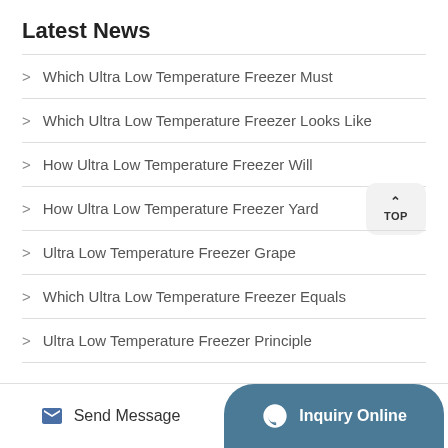Latest News
Which Ultra Low Temperature Freezer Must
Which Ultra Low Temperature Freezer Looks Like
How Ultra Low Temperature Freezer Will
How Ultra Low Temperature Freezer Yard
Ultra Low Temperature Freezer Grape
Which Ultra Low Temperature Freezer Equals
Ultra Low Temperature Freezer Principle
Send Message | Inquiry Online